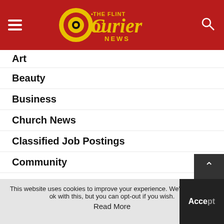The Flint Courier News
Art
Beauty
Business
Church News
Classified Job Postings
Community
Editor's Picks
Education
Entertainment News
Events
Faith
This website uses cookies to improve your experience. We'll assume you're ok with this, but you can opt-out if you wish. Accept Read More